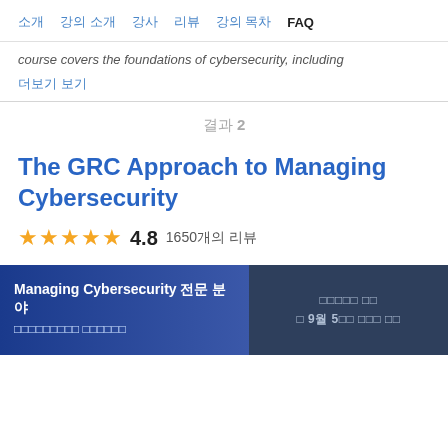소개  강의 소개  강사  리뷰  강의 목차  FAQ
course covers the foundations of cybersecurity, including
더보기 보기
결과 2
The GRC Approach to Managing Cybersecurity
★★★★★ 4.8  1650개의 리뷰
Managing Cybersecurity 전문 분야 oooooooooo oooooo
oooooo oo 월 9월 5일에 무료 체험 시작